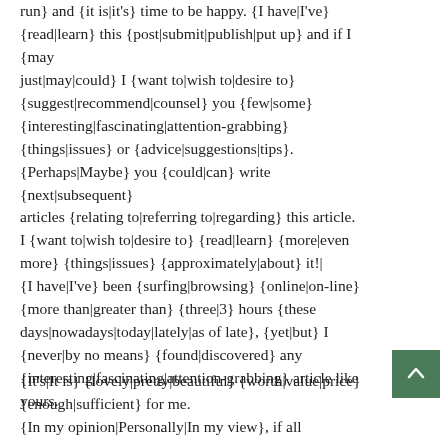run} and {it is|it's} time to be happy. {I have|I've} {read|learn} this {post|submit|publish|put up} and if I {may just|may|could} I {want to|wish to|desire to} {suggest|recommend|counsel} you {few|some} {interesting|fascinating|attention-grabbing} {things|issues} or {advice|suggestions|tips}. {Perhaps|Maybe} you {could|can} write {next|subsequent} articles {relating to|referring to|regarding} this article. I {want to|wish to|desire to} {read|learn} {more|even more} {things|issues} {approximately|about} it!| {I have|I've} been {surfing|browsing} {online|on-line} {more than|greater than} {three|3} hours {these days|nowadays|today|lately|as of late}, {yet|but} I {never|by no means} {found|discovered} any {interesting|fascinating|attention-grabbing} article like yours.
{It's|It is} {lovely|pretty|beautiful} {worth|value|price} {enough|sufficient} for me. {In my opinion|Personally|In my view}, if all